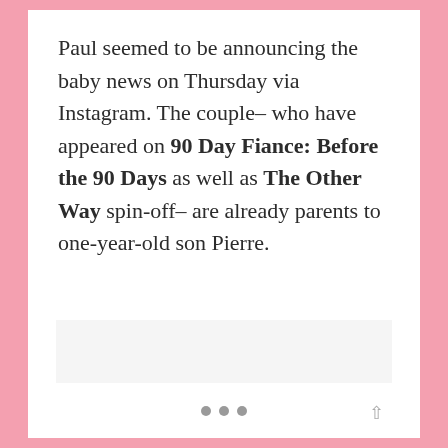Paul seemed to be announcing the baby news on Thursday via Instagram. The couple– who have appeared on 90 Day Fiance: Before the 90 Days as well as The Other Way spin-off– are already parents to one-year-old son Pierre.
[Figure (photo): Image placeholder area below the text block, light gray background]